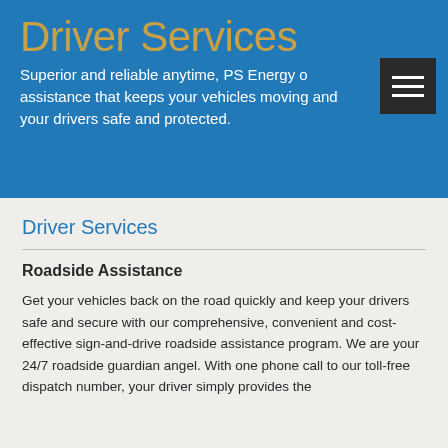Driver Services
Superior and reliable anytime, PS Energy o assistance that keeps your vehicles moving and your drivers safe and protected.
Driver Services
Roadside Assistance
Get your vehicles back on the road quickly and keep your drivers safe and secure with our comprehensive, convenient and cost-effective sign-and-drive roadside assistance program. We are your 24/7 roadside guardian angel. With one phone call to our toll-free dispatch number, your driver simply provides the